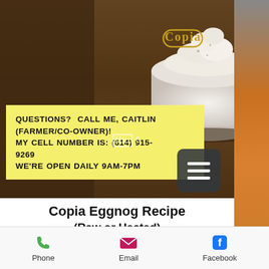[Figure (photo): Photo of a white mug with eggnog topped with whipped cream on a wooden table, with the Copia logo overlaid. Right edge shows an orange beverage. Background wooden table visible.]
QUESTIONS? CALL ME, CAITLIN (FARMER/CO-OWNER)!
MY CELL NUMBER IS: (614) 915-9269
WE'RE OPEN DAILY 9AM-7PM
Copia Eggnog Recipe
(Raw or Heated)
Make the day before your event for
[Figure (screenshot): Mobile app bottom navigation bar with Phone (green phone icon), Email (pink envelope icon), and Facebook (blue Facebook icon) buttons]